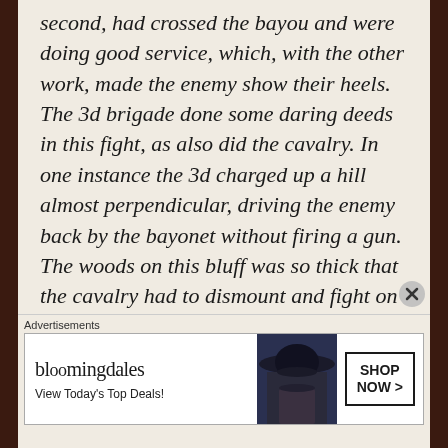second, had crossed the bayou and were doing good service, which, with the other work, made the enemy show their heels. The 3d brigade done some daring deeds in this fight, as also did the cavalry. In one instance the 3d charged up a hill almost perpendicular, driving the enemy back by the bayonet without firing a gun. The woods on this bluff was so thick that the cavalry had to dismount and fight on foot. During the whole of the day, our brigade, the 2d was supporting artillery, under fire all the
Advertisements
[Figure (other): Bloomingdale's advertisement banner with logo, 'View Today's Top Deals!' text, model wearing wide-brim hat, and 'SHOP NOW >' button]